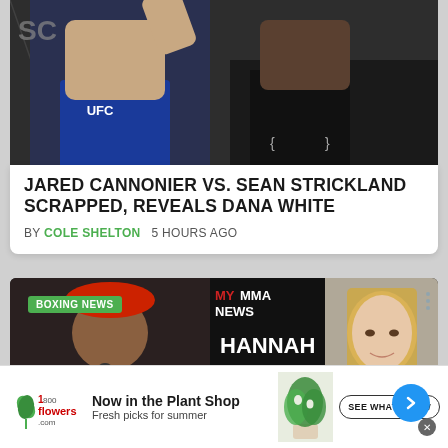[Figure (photo): UFC fight photo showing two fighters in octagon, one wearing blue UFC shorts, other wearing Venum shorts]
JARED CANNONIER VS. SEAN STRICKLAND SCRAPPED, REVEALS DANA WHITE
BY COLE SHELTON   5 HOURS AGO
[Figure (screenshot): Video thumbnail showing Jake Paul on left, Hannah Rokala text overlay in center with MY MMA NEWS logo, woman with blonde hair on right. Boxing News badge visible. Arrow navigation button.]
[Figure (photo): 1-800-Flowers.com advertisement banner: Now in the Plant Shop, Fresh picks for summer, with plant image and SEE WHAT'S NEW button]